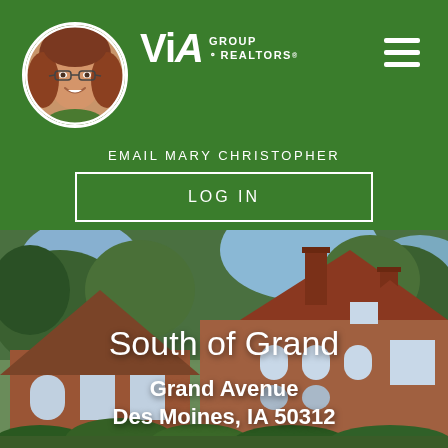[Figure (photo): Circular headshot of a woman with glasses and curly auburn hair, smiling, VIA Group Realtors agent photo]
[Figure (logo): VIA Group Realtors logo in white text on green background]
EMAIL MARY CHRISTOPHER
LOG IN
[Figure (photo): Photograph of a large brick Tudor-style home with steep rooflines and arched windows, surrounded by trees and shrubs]
South of Grand
Grand Avenue
Des Moines, IA 50312